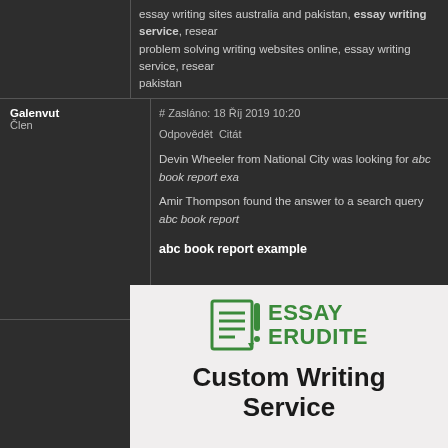essay writing sites australia and pakistan, essay writing service, research problem solving writing websites online, essay writing service, research pakistan
Galenvut
Člen
# Zasláno: 18 Říj 2019 10:20
Odpovědět Citát

Devin Wheeler from National City was looking for abc book report exa

Amir Thompson found the answer to a search query abc book report


abc book report example
[Figure (screenshot): Essay Erudite website screenshot showing the logo with a green document icon and the text ESSAY ERUDITE, below which reads Custom Writing Service in large bold dark text.]